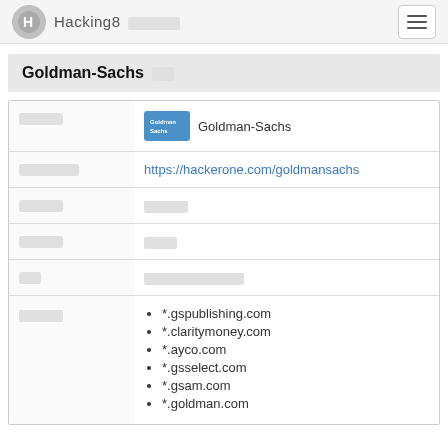Hacking8 [CJK] [hamburger menu]
Goldman-Sachs [CJK]
| [CJK] | Goldman-Sachs |
| [CJK] | https://hackerone.com/goldmansachs |
| [CJK] | [CJK] |
| [CJK] | [CJK] |
| [CJK] | [CJK] |
| [CJK] | *.gspublishing.com, *.claritymoney.com, *.ayco.com, *.gsselect.com, *.gsam.com, *.goldman.com |